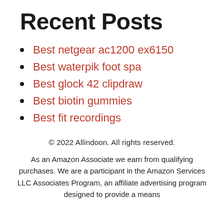Recent Posts
Best netgear ac1200 ex6150
Best waterpik foot spa
Best glock 42 clipdraw
Best biotin gummies
Best fit recordings
© 2022 Allindoon. All rights reserved.
As an Amazon Associate we earn from qualifying purchases. We are a participant in the Amazon Services LLC Associates Program, an affiliate advertising program designed to provide a means